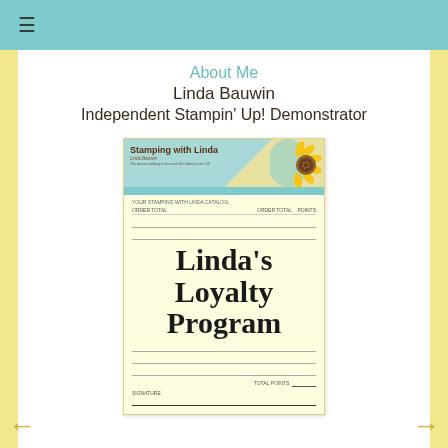≡
About Me
Linda Bauwin
Independent Stampin' Up! Demonstrator
[Figure (illustration): A loyalty program card for 'Stamping with Linda' featuring a sunflower header image and bold text reading "Linda's Loyalty Program" with ruled lines for entries]
← →